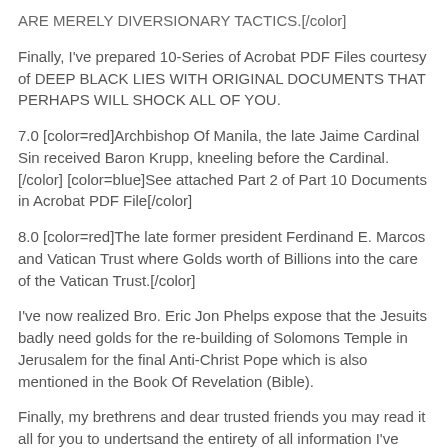ARE MERELY DIVERSIONARY TACTICS.[/color]
Finally, I've prepared 10-Series of Acrobat PDF Files courtesy of DEEP BLACK LIES WITH ORIGINAL DOCUMENTS THAT PERHAPS WILL SHOCK ALL OF YOU.
7.0 [color=red]Archbishop Of Manila, the late Jaime Cardinal Sin received Baron Krupp, kneeling before the Cardinal.[/color] [color=blue]See attached Part 2 of Part 10 Documents in Acrobat PDF File[/color]
8.0 [color=red]The late former president Ferdinand E. Marcos and Vatican Trust where Golds worth of Billions into the care of the Vatican Trust.[/color]
I've now realized Bro. Eric Jon Phelps expose that the Jesuits badly need golds for the re-building of Solomons Temple in Jerusalem for the final Anti-Christ Pope which is also mentioned in the Book Of Revelation (Bible).
Finally, my brethrens and dear trusted friends you may read it all for you to undertsand the entirety of all information I've